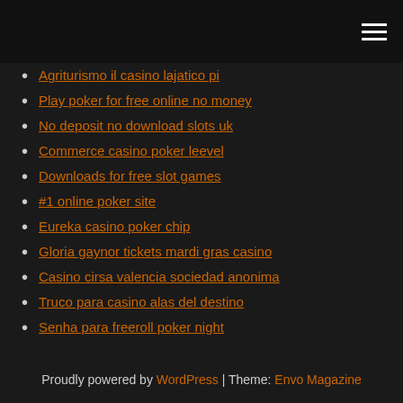Navigation menu
Agriturismo il casino lajatico pi
Play poker for free online no money
No deposit no download slots uk
Commerce casino poker leevel
Downloads for free slot games
#1 online poker site
Eureka casino poker chip
Gloria gaynor tickets mardi gras casino
Casino cirsa valencia sociedad anonima
Truco para casino alas del destino
Senha para freeroll poker night
Proudly powered by WordPress | Theme: Envo Magazine